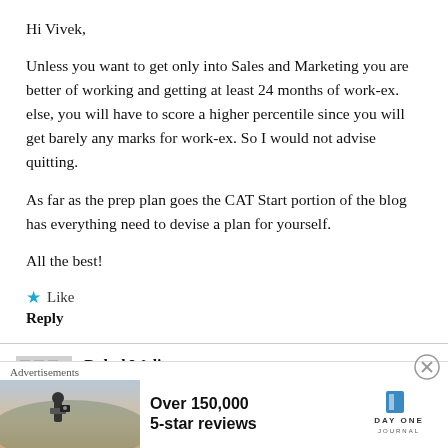Hi Vivek,
Unless you want to get only into Sales and Marketing you are better of working and getting at least 24 months of work-ex. else, you will have to score a higher percentile since you will get barely any marks for work-ex. So I would not advise quitting.
As far as the prep plan goes the CAT Start portion of the blog has everything need to devise a plan for yourself.
All the best!
★ Like
Reply
Rahul Walia
November 6, 2020
[Figure (infographic): Advertisement banner: 'Over 150,000 5-star reviews' with DayOne Journal logo and a photo of a person photographing a landscape.]